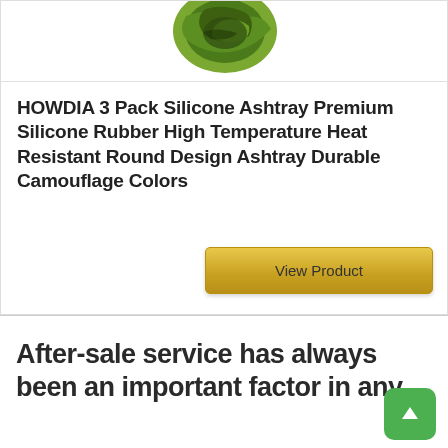[Figure (photo): Product image of a green camouflage silicone ashtray, round shape, partially visible at top of page]
HOWDIA 3 Pack Silicone Ashtray Premium Silicone Rubber High Temperature Heat Resistant Round Design Ashtray Durable Camouflage Colors
View Product
After-sale service has always been an important factor in any